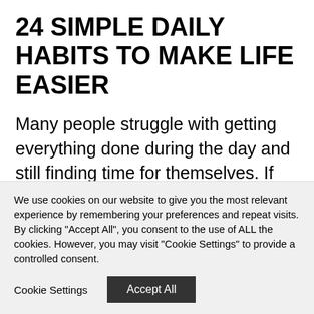24 SIMPLE DAILY HABITS TO MAKE LIFE EASIER
Many people struggle with getting everything done during the day and still finding time for themselves. If this sounds familiar, check out these 24 simple daily habits to make life easier. Little tips to create more ease, time and freedom in your everyday life.
We use cookies on our website to give you the most relevant experience by remembering your preferences and repeat visits. By clicking "Accept All", you consent to the use of ALL the cookies. However, you may visit "Cookie Settings" to provide a controlled consent.